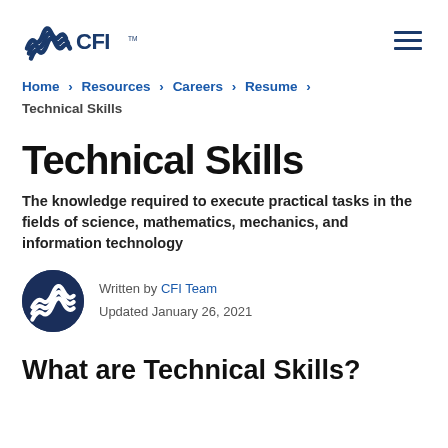CFI logo and navigation menu
Home › Resources › Careers › Resume › Technical Skills
Technical Skills
The knowledge required to execute practical tasks in the fields of science, mathematics, mechanics, and information technology
Written by CFI Team
Updated January 26, 2021
What are Technical Skills?